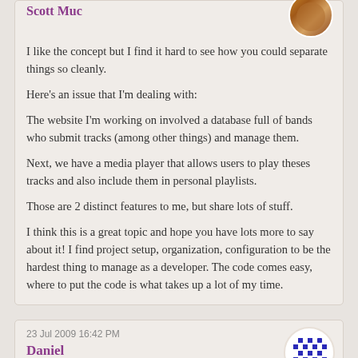Scott Muc
I like the concept but I find it hard to see how you could separate things so cleanly.
Here's an issue that I'm dealing with:
The website I'm working on involved a database full of bands who submit tracks (among other things) and manage them.
Next, we have a media player that allows users to play theses tracks and also include them in personal playlists.
Those are 2 distinct features to me, but share lots of stuff.
I think this is a great topic and hope you have lots more to say about it! I find project setup, organization, configuration to be the hardest thing to manage as a developer. The code comes easy, where to put the code is what takes up a lot of my time.
23 Jul 2009 16:42 PM
Daniel
I'm digging this, and would love to see more concrete